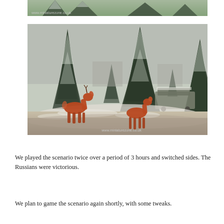[Figure (photo): Partial top of a wargaming diorama with snowy winter scene miniatures, cropped at top of page. Watermark: www.miniaturezone.co.uk]
[Figure (photo): Wargaming diorama with orange deer figurines standing among snow-dusted miniature conifer trees on a snowy terrain base. A military vehicle is visible in the background. Watermark: www.miniaturezone.co.uk]
We played the scenario twice over a period of 3 hours and switched sides. The Russians were victorious.
We plan to game the scenario again shortly, with some tweaks.